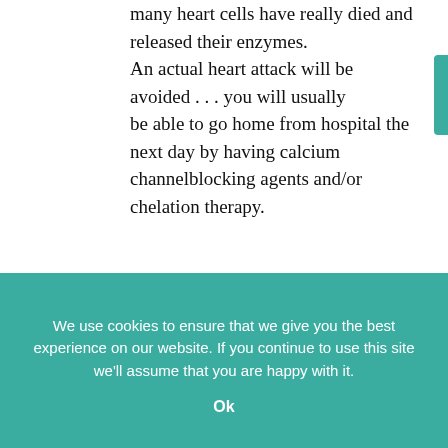many heart cells have really died and released their enzymes. An actual heart attack will be avoided . . . you will usually be able to go home from hospital the next day by having calcium channelblocking agents and/or chelation therapy.
Elmer Cranton and Arline Brecher (1984) describe some of the stages involved:
We use cookies to ensure that we give you the best experience on our website. If you continue to use this site we'll assume that you are happy with it.
Ok